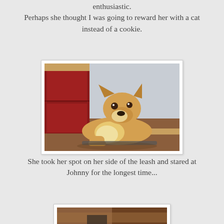enthusiastic.
Perhaps she thought I was going to reward her with a cat instead of a cookie.
[Figure (photo): A tan and white dog lying on a wooden floor, looking at the camera, with a dark red cabinet and white wall in the background.]
She took her spot on her side of the leash and stared at Johnny for the longest time...
[Figure (photo): Partially visible photo at bottom of page, cropped.]